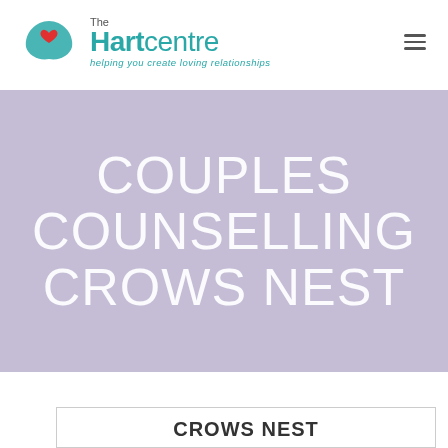[Figure (logo): The Hart Centre logo with teal heart/hands icon and text 'The Hartcentre' with tagline 'helping you create loving relationships']
COUPLES COUNSELLING CROWS NEST
CROWS NEST